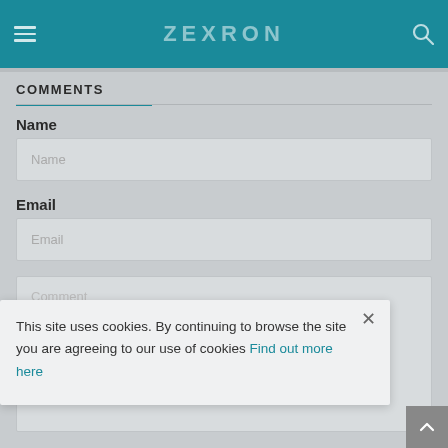ZEXRON
COMMENTS
Name
Email
This site uses cookies. By continuing to browse the site you are agreeing to our use of cookies Find out more here